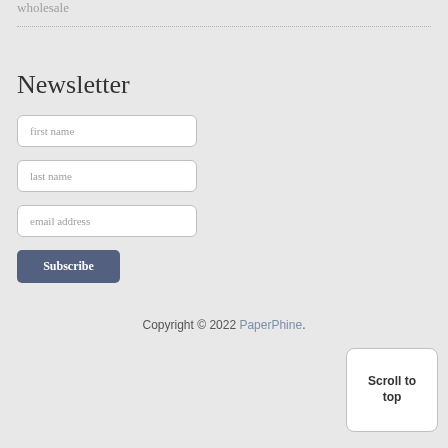wholesale
Newsletter
[Figure (screenshot): Newsletter signup form with fields for first name, last name, email address, and a Subscribe button]
Copyright © 2022 PaperPhine.
Scroll to top